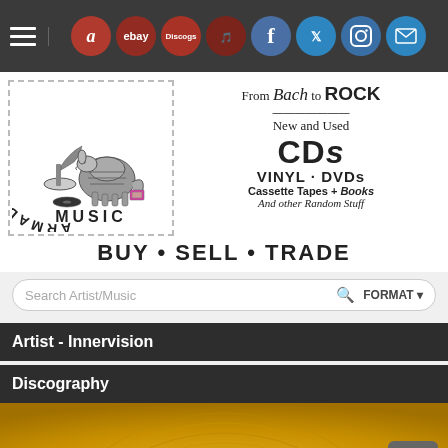Navigation bar with hamburger menu, Amazon, eBay, Discogs, social media icons
[Figure (logo): Armadillo Music logo with armadillo playing gramophone, dashed border box]
From Bach to ROCK
New and Used
CDs
VINYL · DVDs
Cassette Tapes + Books
And other Random Stuff
Buy • Sell • Trade
Search Artist/Music  FORMAT
Artist - Innervision
Discography
[Figure (photo): Gold vinyl record close-up, partial text visible at bottom reading 'OUS GOLD']